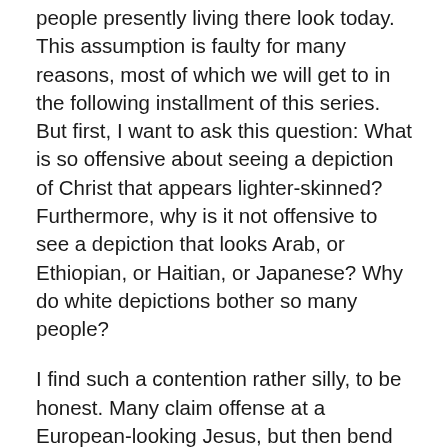people presently living there look today. This assumption is faulty for many reasons, most of which we will get to in the following installment of this series. But first, I want to ask this question: What is so offensive about seeing a depiction of Christ that appears lighter-skinned? Furthermore, why is it not offensive to see a depiction that looks Arab, or Ethiopian, or Haitian, or Japanese? Why do white depictions bother so many people?
I find such a contention rather silly, to be honest. Many claim offense at a European-looking Jesus, but then bend over backward to talk about how Jesus was dark-skinned or note that it's fine to depict Him any other way, just make sure He isn't fair-skinned! What sort of deprecating double standard is that? There is also a growing argument that Jesus wasn't Jewish at all but African. Such ideologies are intentionally divisive and are still historically inaccurate.